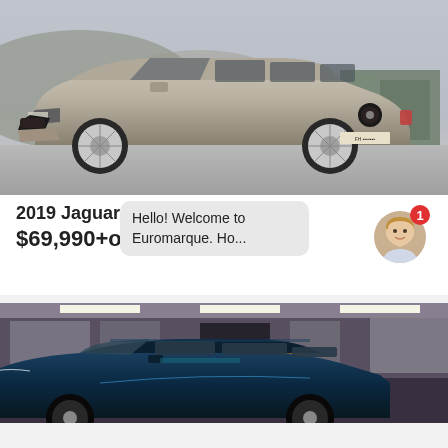[Figure (photo): Silver Jaguar XF Sportbrake estate car photographed outdoors on a concrete surface with hills and a building in the background, overcast sky]
2019 Jaguar XF
$69,990+orc
Hello! Welcome to Euromarque. Ho...
[Figure (photo): Interior of a car dealership showroom with a dark blue/teal vehicle visible in the foreground, luxury vehicles on display inside the dealership]